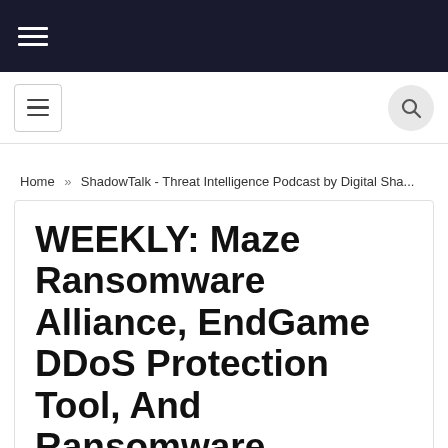Navigation menu (hamburger icon on dark background)
Navigation bar with hamburger icon and search icon
Home » ShadowTalk - Threat Intelligence Podcast by Digital Sha...
WEEKLY: Maze Ransomware Alliance, EndGame DDoS Protection Tool, And Ransomware